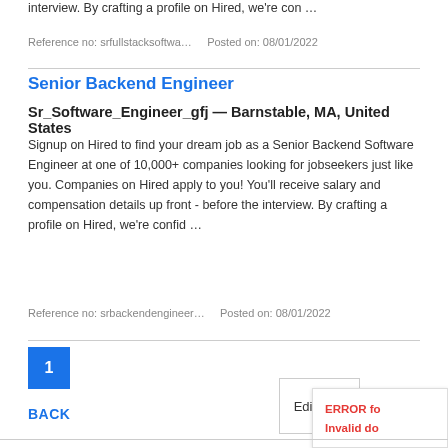interview. By crafting a profile on Hired, we're con …
Reference no: srfullstacksoftwa…    Posted on: 08/01/2022
Senior Backend Engineer
Sr_Software_Engineer_gfj — Barnstable, MA, United States
Signup on Hired to find your dream job as a Senior Backend Software Engineer at one of 10,000+ companies looking for jobseekers just like you. Companies on Hired apply to you! You'll receive salary and compensation details up front - before the interview. By crafting a profile on Hired, we're confid …
Reference no: srbackendengineer…    Posted on: 08/01/2022
1
BACK
Edit sear
ERROR fo
Invalid do